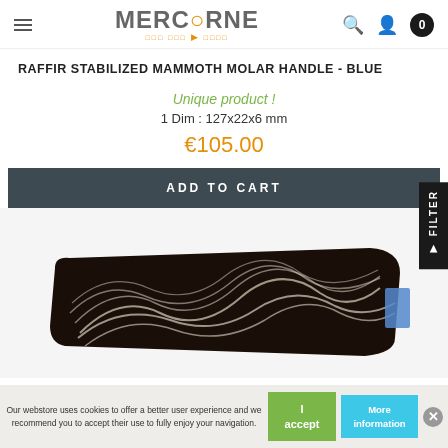Mercorne - navigation header with logo, search, user, cart
RAFFIR STABILIZED MAMMOTH MOLAR HANDLE - BLUE
Unique product !
1 Dim : 127x22x6 mm
€105.00
ADD TO CART
[Figure (photo): Dark mammoth molar handle with distinctive light-colored striations in diagonal wavy pattern on black/dark brown background]
Our webstore uses cookies to offer a better user experience and we recommend you to accept their use to fully enjoy your navigation.